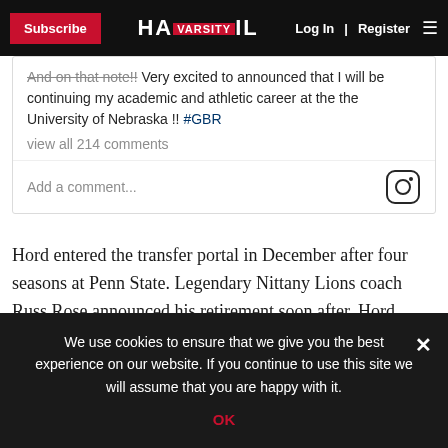Subscribe | HAIL VARSITY | Log In | Register
[Figure (screenshot): Instagram post comment section showing text: 'And on that note!! Very excited to announced that I will be continuing my academic and athletic career at the the University of Nebraska !! #GBR' with 'view all 214 comments' and 'Add a comment...' input with Instagram icon]
Hord entered the transfer portal in December after four seasons at Penn State. Legendary Nittany Lions coach Russ Rose announced his retirement soon after. Hord visited Lincoln this week before making her decision.
We use cookies to ensure that we give you the best experience on our website. If you continue to use this site we will assume that you are happy with it. OK